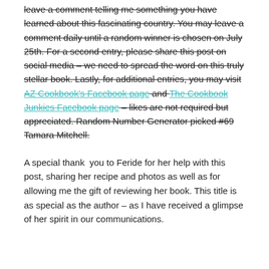leave a comment telling me something you have learned about this fascinating country. You may leave a comment daily until a random winner is chosen on July 25th. For a second entry, please share this post on social media – we need to spread the word on this truly stellar book. Lastly, for additional entries, you may visit AZ Cookbook's Facebook page and The Cookbook Junkies Facebook page – likes are not required but appreciated. Random Number Generator picked #69 Tamara Mitchell.
A special thank you to Feride for her help with this post, sharing her recipe and photos as well as for allowing me the gift of reviewing her book. This title is as special as the author – as I have received a glimpse of her spirit in our communications.